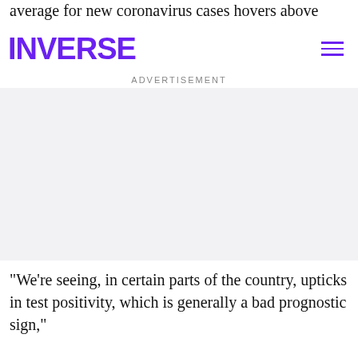average for new coronavirus cases hovers above 10,000 according to the New York Times.
INVERSE
ADVERTISEMENT
"We’re seeing, in certain parts of the country, upticks in test positivity, which is generally a bad prognostic sign,"